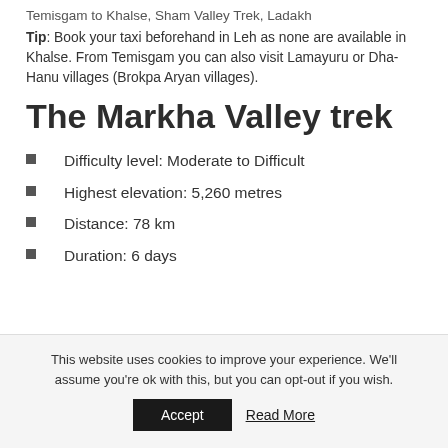Temisgam to Khalse, Sham Valley Trek, Ladakh
Tip: Book your taxi beforehand in Leh as none are available in Khalse. From Temisgam you can also visit Lamayuru or Dha-Hanu villages (Brokpa Aryan villages).
The Markha Valley trek
Difficulty level: Moderate to Difficult
Highest elevation: 5,260 metres
Distance: 78 km
Duration: 6 days
This website uses cookies to improve your experience. We'll assume you're ok with this, but you can opt-out if you wish. Accept Read More